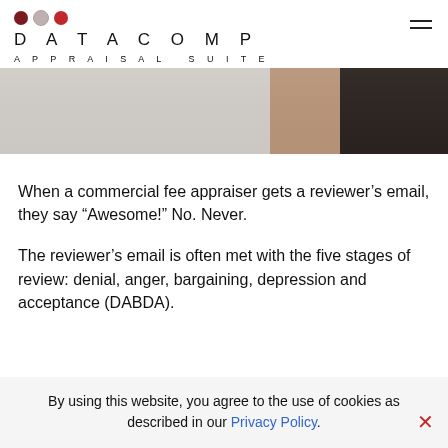DATACOMP APPRAISAL SUITE
[Figure (photo): Partial view of a desk or professional setting, showing grey, tan and dark brown tones — cropped hero image.]
When a commercial fee appraiser gets a reviewer’s email, they say “Awesome!” No. Never.
The reviewer’s email is often met with the five stages of review: denial, anger, bargaining, depression and acceptance (DABDA).
By using this website, you agree to the use of cookies as described in our Privacy Policy.